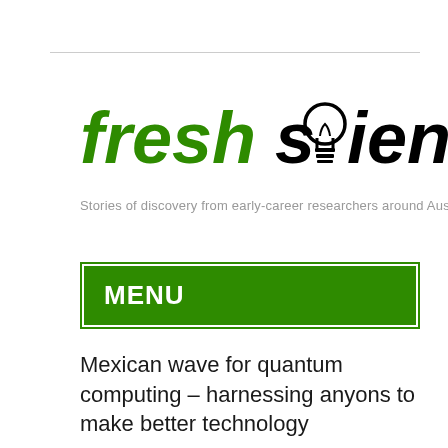[Figure (logo): Fresh Science logo — 'freshscience' in bold italic with a lightbulb replacing the 'o', 'fresh' in green and 'science' in black]
Stories of discovery from early-career researchers around Austral
MENU
Mexican wave for quantum computing – harnessing anyons to make better technology